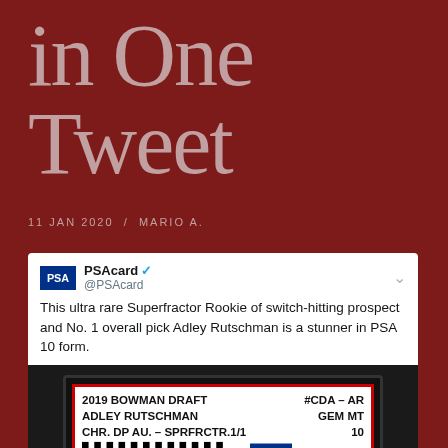in One Tweet
11 JAN 2020 / MARIO A.
[Figure (screenshot): Embedded tweet from @PSAcard with PSA logo and text about a 2019 Bowman Draft Adley Rutschman Superfractor Rookie PSA 10 card, showing a PSA slab label with card details: 2019 BOWMAN DRAFT #CDA - AR, ADLEY RUTSCHMAN GEM MT, CHR. DP AU. - SPRFRCTR.1/1, 10, barcode, PSA logo, certification number 45173300]